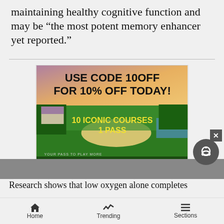maintaining healthy cognitive function and may be “the most potent memory enhancer yet reported.”
[Figure (illustration): Rocky Mountain Golf Card advertisement. Top section has bold black text on light gradient background reading 'USE CODE 10OFF FOR 10% OFF TODAY!' with yellow text overlay on golf course image reading '10 ICONIC COURSES 1 PASS'. Bottom dark green section shows 'ROCKY MOUNTAIN GOLF CARD YOUR PASS TO PLAY MORE' logo in white serif font on left, and a green rounded button 'Click Here To Purchase' on right.]
Research shows that low oxygen alone completes
Home   Trending   Sections